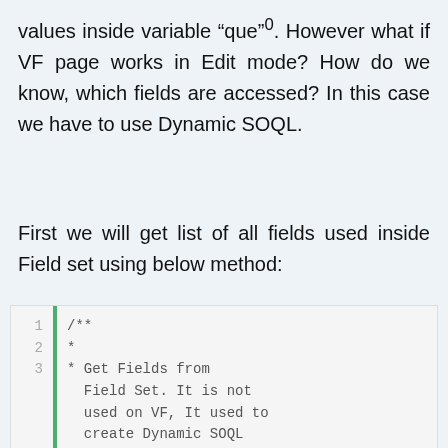values inside variable “que”⁰. However what if VF page works in Edit mode? How do we know, which fields are accessed? In this case we have to use Dynamic SOQL.
First we will get list of all fields used inside Field set using below method:
[Figure (screenshot): Code block showing lines 1-4 of a Java/Apex comment block. Line 1: /**, Line 2: *, Line 3: * Get Fields from Field Set. It is not used on VF, It used to create Dynamic SOQL for Edit mode., Line 4: */]